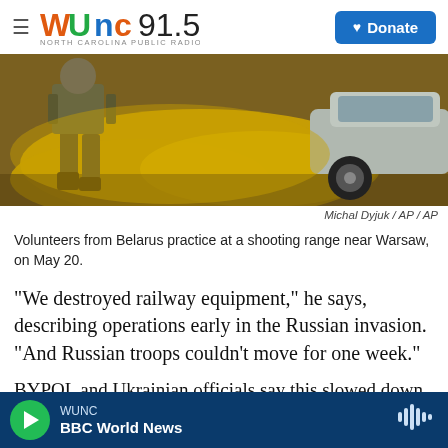[Figure (logo): WUNC 91.5 North Carolina Public Radio logo with hamburger menu and Donate button]
[Figure (photo): Volunteers from Belarus practice at a shooting range near Warsaw. A soldier is seen against yellow smoke with a silver car in the background.]
Michal Dyjuk / AP / AP
Volunteers from Belarus practice at a shooting range near Warsaw, on May 20.
"We destroyed railway equipment," he says, describing operations early in the Russian invasion. "And Russian troops couldn't move for one week."
BYPOL and Ukrainian officials say this slowed down
WUNC  BBC World News